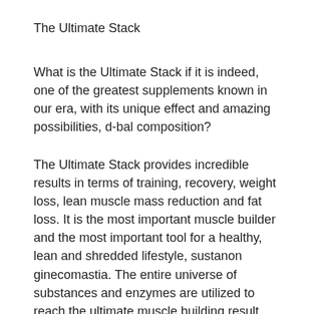The Ultimate Stack
What is the Ultimate Stack if it is indeed, one of the greatest supplements known in our era, with its unique effect and amazing possibilities, d-bal composition?
The Ultimate Stack provides incredible results in terms of training, recovery, weight loss, lean muscle mass reduction and fat loss. It is the most important muscle builder and the most important tool for a healthy, lean and shredded lifestyle, sustanon ginecomastia. The entire universe of substances and enzymes are utilized to reach the ultimate muscle building result which will greatly increase your athletic level. A single serving can deliver over 30% of daily intake, that comes to a total of 2kg of muscle.